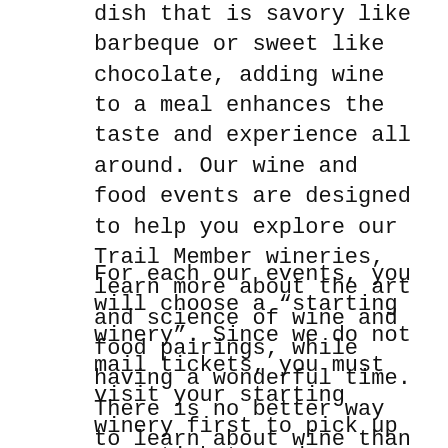dish that is savory like barbeque or sweet like chocolate, adding wine to a meal enhances the taste and experience all around. Our wine and food events are designed to help you explore our Trail Member wineries, learn more about the art and science of wine and food pairings, while having a wonderful time. There is no better way to learn about wine than to taste it!
For each our events, you will choose a “starting winery”. Since we do not mail tickets, you must visit your starting winery first to pick up your tickets and your event favor (where applicable). From there you may visit the rest of the participating wineries in any order you choose on any of the event dates/hours listed (with the exception of